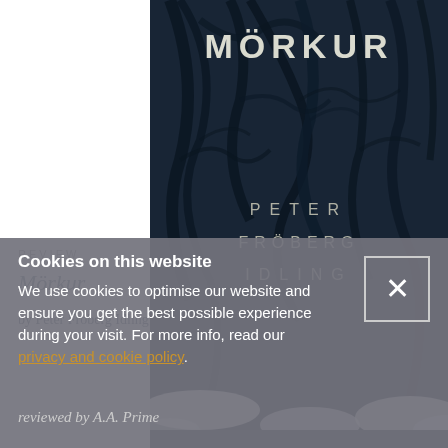[Figure (illustration): Book cover of 'Mörkur' by Peter Fröberg Idling. Dark blue-grey background with bare tree branches. Title 'MÖRKUR' at top in white letters, author name 'PETER FRÖBERG IDLING' in center, publisher logo (red with tree icon) at bottom left.]
REVIEW
Mörkur
by Peter Fröberg Idling
Cookies on this website
We use cookies to optimise our website and ensure you get the best possible experience during your visit. For more info, read our privacy and cookie policy.
reviewed by A.A. Prime